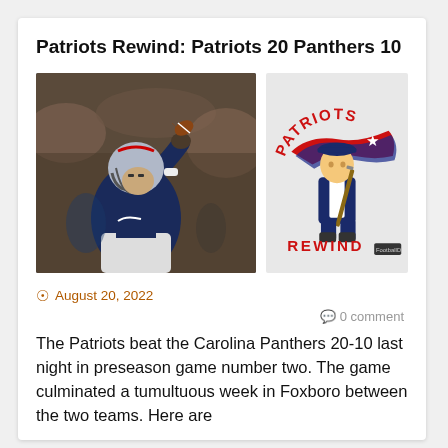Patriots Rewind: Patriots 20 Panthers 10
[Figure (photo): NFL quarterback in Patriots uniform throwing a football, action shot during game]
[Figure (logo): Patriots Rewind logo featuring a colonial Patriot mascot with a musket, red text reading PATRIOTS at top and REWIND at bottom, with red, white and blue design elements]
August 20, 2022
0 comment
The Patriots beat the Carolina Panthers 20-10 last night in preseason game number two. The game culminated a tumultuous week in Foxboro between the two teams. Here are